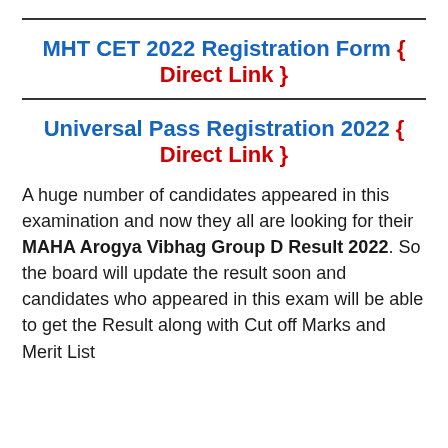MHT CET 2022 Registration Form { Direct Link }
Universal Pass Registration 2022 { Direct Link }
A huge number of candidates appeared in this examination and now they all are looking for their MAHA Arogya Vibhag Group D Result 2022. So the board will update the result soon and candidates who appeared in this exam will be able to get the Result along with Cut off Marks and Merit List